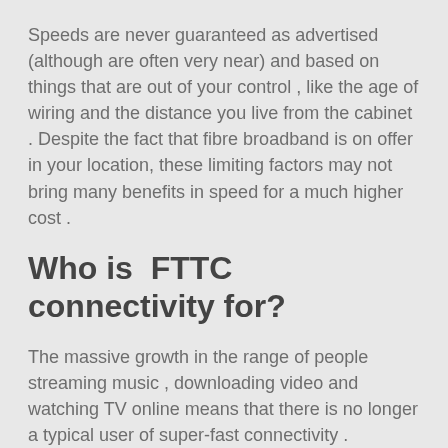Speeds are never guaranteed as advertised (although are often very near) and based on things that are out of your control , like the age of wiring and the distance you live from the cabinet . Despite the fact that fibre broadband is on offer in your location, these limiting factors may not bring many benefits in speed for a much higher cost .
Who is  FTTC connectivity for?
The massive growth in the range of people streaming music , downloading video and watching TV online means that there is no longer a typical user of super-fast connectivity .